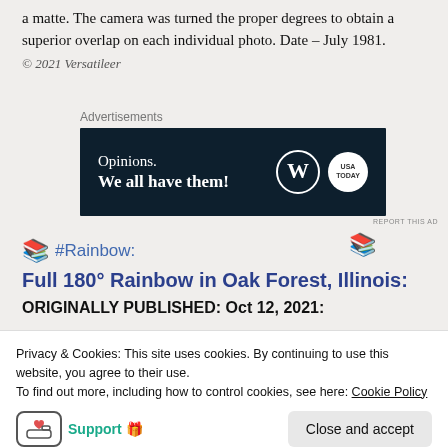a matte. The camera was turned the proper degrees to obtain a superior overlap on each individual photo. Date – July 1981.
© 2021 Versatileer
[Figure (other): Advertisement banner: dark navy background with text 'Opinions. We all have them!' and WordPress logo plus a circular logo on the right.]
#Rainbow:
Full 180° Rainbow in Oak Forest, Illinois:
ORIGINALLY PUBLISHED: Oct 12, 2021:
[Figure (photo): Three landscape photos side by side showing overcast sky scenes.]
Privacy & Cookies: This site uses cookies. By continuing to use this website, you agree to their use.
To find out more, including how to control cookies, see here: Cookie Policy
Support 🎁
Close and accept